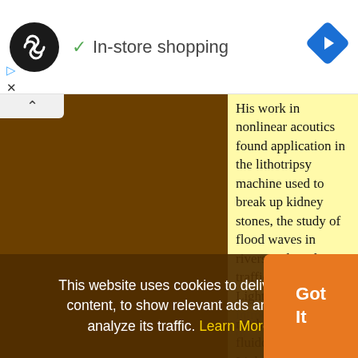[Figure (screenshot): Ad bar with circular logo (infinity/loop icon), checkmark and 'In-store shopping' text, and blue navigation diamond icon]
His work in nonlinear acoutics found application in the lithotripsy machine used to break up kidney stones, the study of flood waves in rivers and road traffic flow. Lighthill also introduced the field of mathematical fluiddynamics. Lighthill followed Paul Dirac as Lucasian
This website uses cookies to deliver its content, to show relevant ads and to analyze its traffic. Learn More
Got It